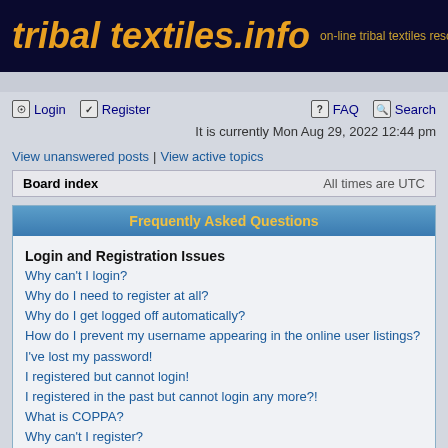[Figure (screenshot): tribal textiles.info website banner with dark navy background, gold italic bold text 'tribal textiles.info' and subtitle 'on-line tribal textiles reso...']
Login   Register   FAQ   Search
It is currently Mon Aug 29, 2022 12:44 pm
View unanswered posts | View active topics
Board index   All times are UTC
Frequently Asked Questions
Login and Registration Issues
Why can't I login?
Why do I need to register at all?
Why do I get logged off automatically?
How do I prevent my username appearing in the online user listings?
I've lost my password!
I registered but cannot login!
I registered in the past but cannot login any more?!
What is COPPA?
Why can't I register?
What does the "Delete all board cookies" do?
User Preferences and settings
How do I change my settings?